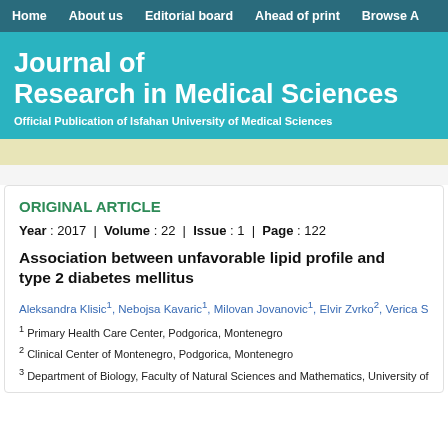Home | About us | Editorial board | Ahead of print | Browse A
Journal of Research in Medical Sciences
Official Publication of Isfahan University of Medical Sciences
ORIGINAL ARTICLE
Year : 2017 | Volume : 22 | Issue : 1 | Page : 122
Association between unfavorable lipid profile and type 2 diabetes mellitus
Aleksandra Klisic1, Nebojsa Kavaric1, Milovan Jovanovic1, Elvir Zvrko2, Verica Sl...
1 Primary Health Care Center, Podgorica, Montenegro
2 Clinical Center of Montenegro, Podgorica, Montenegro
3 Department of Biology, Faculty of Natural Sciences and Mathematics, University of M...